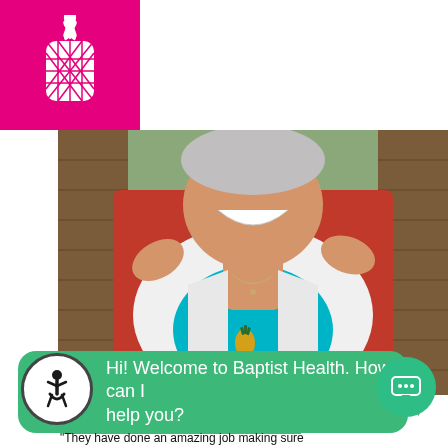[Figure (logo): Pink pineapple logo on magenta/hot-pink square background — Baptist Health logo]
[Figure (photo): Elderly woman laughing, wearing white cardigan over teal pineapple-print top, seated in wicker chair with red cushions. Another person's hands are on her shoulders.]
Marathon resident Dolores Larson and her daughter, Robin Mearns, m[ake memories at the Mariners Hospital com]munit[y]
Hi! Welcome to Baptist Health. How can I help you?
"They have done an amazing job making sure